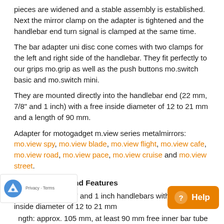pieces are widened and a stable assembly is established. Next the mirror clamp on the adapter is tightened and the handlebar end turn signal is clamped at the same time.
The bar adapter uni disc cone comes with two clamps for the left and right side of the handlebar. They fit perfectly to our grips mo.grip as well as the push buttons mo.switch basic and mo.switch mini.
They are mounted directly into the handlebar end (22 mm, 7/8" and 1 inch) with a free inside diameter of 12 to 21 mm and a length of 90 mm.
Adapter for motogadget m.view series metalmirrors: mo.view spy, mo.view blade, mo.view flight, mo.view cafe, mo.view road, mo.view pace, mo.view cruise and mo.view street.
Specifications And Features
Fits all 22 mm, 7/8" and 1 inch handlebars with a free inside diameter of 12 to 21 mm
Length: approx. 105 mm, at least 90 mm free inner bar tube length required
Width of clamping surface for mirrors: 8 mm, fits all mo.view